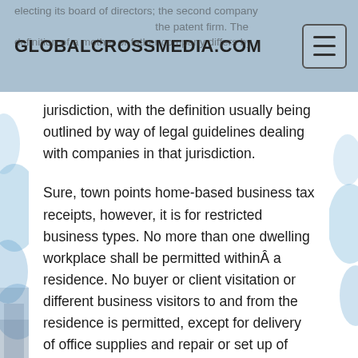GLOBALCROSSMEDIA.COM
electing its board of directors; the second company ... the patent firm. The definition of a mother or father company differs by jurisdiction, with the definition usually being outlined by way of legal guidelines dealing with companies in that jurisdiction.
Sure, town points home-based business tax receipts, however, it is for restricted business types. No more than one dwelling workplace shall be permitted withinÂ a residence. No buyer or client visitation or different business visitors to and from the residence is permitted, except for delivery of office supplies and repair or set up of workplace gear. No signs or other types of business commercial exterior the residence are permitted. Actual property brokers may provide an inside sign on the entrance of the door of the